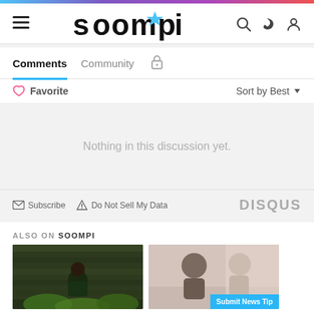soompi
Comments | Community
♡ Favorite   Sort by Best ▾
Nothing in this discussion yet.
✉ Subscribe  ▲ Do Not Sell My Data   DISQUS
ALSO ON SOOMPI
[Figure (screenshot): Two thumbnail images from Soompi articles. Left thumbnail shows a person in a dark forest/green setting. Right thumbnail shows two people in a lighter setting.]